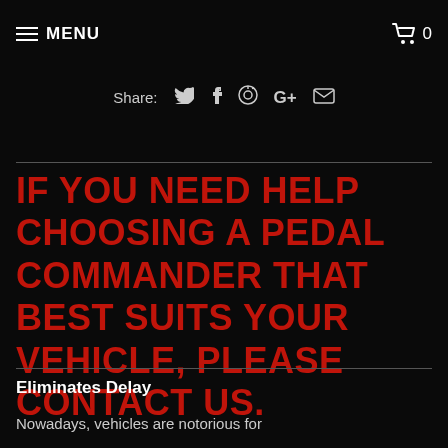MENU  0
Share:  Twitter  Facebook  Pinterest  Google+  Email
IF YOU NEED HELP CHOOSING A PEDAL COMMANDER THAT BEST SUITS YOUR VEHICLE, PLEASE CONTACT US.
Eliminates Delay
Nowadays, vehicles are notorious for